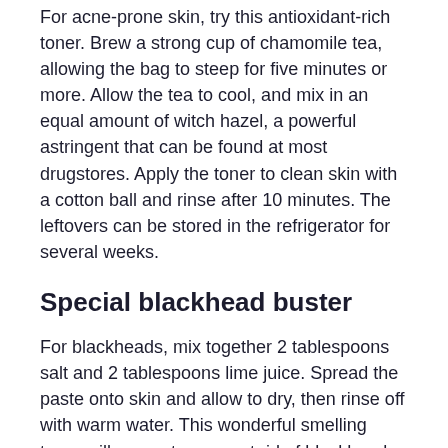For acne-prone skin, try this antioxidant-rich toner. Brew a strong cup of chamomile tea, allowing the bag to steep for five minutes or more. Allow the tea to cool, and mix in an equal amount of witch hazel, a powerful astringent that can be found at most drugstores. Apply the toner to clean skin with a cotton ball and rinse after 10 minutes. The leftovers can be stored in the refrigerator for several weeks.
Special blackhead buster
For blackheads, mix together 2 tablespoons salt and 2 tablespoons lime juice. Spread the paste onto skin and allow to dry, then rinse off with warm water. This wonderful smelling toner will prevent acne, get rid of blackheads, and tighten your pores!
RELATED: 4 Common Skin Problems and How to Deal